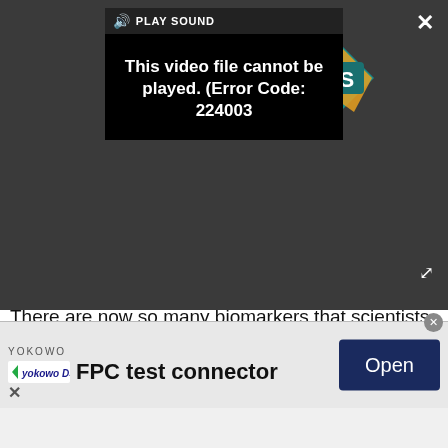[Figure (screenshot): Video player overlay showing a black video player area with 'PLAY SOUND' bar at top, error message 'This video file cannot be played. (Error Code: 224003)', and an LS logo on the right side. A close X button is in the top right corner and an expand arrow in the bottom right.]
There are now so many biomarkers that scientists test for that you actually couldn't safely submit the amount of blood needed to test them all at once. The science team at InsideTracker has chosen 30 biomarkers that it believes are the most relevant to healthy people, and that are also modifiable with lifestyle and diet changes, Blander said.
At the beginning, it was amazing to see an enormous
[Figure (screenshot): Advertisement banner for YOKOWO FPC test connector with an Open button on the right side in dark navy blue.]